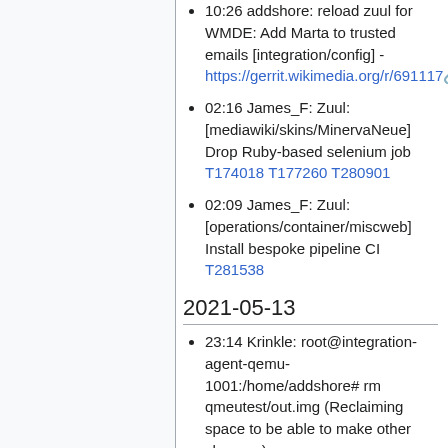10:26 addshore: reload zuul for WMDE: Add Marta to trusted emails [integration/config] - https://gerrit.wikimedia.org/r/691117
02:16 James_F: Zuul: [mediawiki/skins/MinervaNeue] Drop Ruby-based selenium job T174018 T177260 T280901
02:09 James_F: Zuul: [operations/container/miscweb] Install bespoke pipeline CI T281538
2021-05-13
23:14 Krinkle: root@integration-agent-qemu-1001:/home/addshore# rm qmeutest/out.img (Reclaiming space to be able to make other changes)